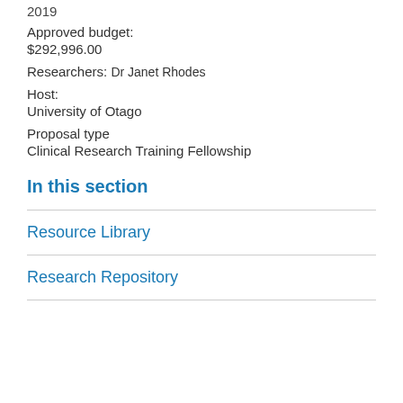2019
Approved budget:
$292,996.00
Researchers: Dr Janet Rhodes
Host:
University of Otago
Proposal type
Clinical Research Training Fellowship
In this section
Resource Library
Research Repository